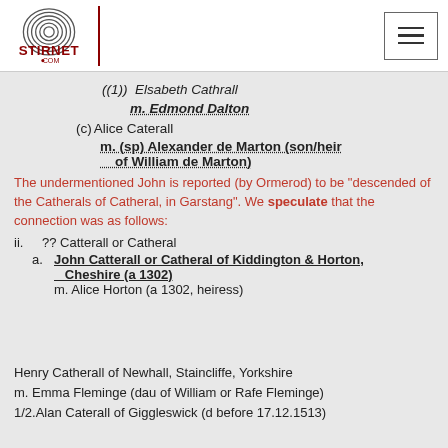[Figure (logo): Stirnet.com fingerprint logo with red text]
((1)) Elsabeth Cathrall
 m. Edmond Dalton
(c) Alice Caterall
 m. (sp) Alexander de Marton (son/heir of William de Marton)
The undermentioned John is reported (by Ormerod) to be "descended of the Catherals of Catheral, in Garstang". We speculate that the connection was as follows:
ii. ?? Catterall or Catheral
a. John Catterall or Catheral of Kiddington & Horton, Cheshire (a 1302)
 m. Alice Horton (a 1302, heiress)
Henry Catherall of Newhall, Staincliffe, Yorkshire
m. Emma Fleminge (dau of William or Rafe Fleminge)
1/2.Alan Caterall of Giggleswick (d before 17.12.1513)